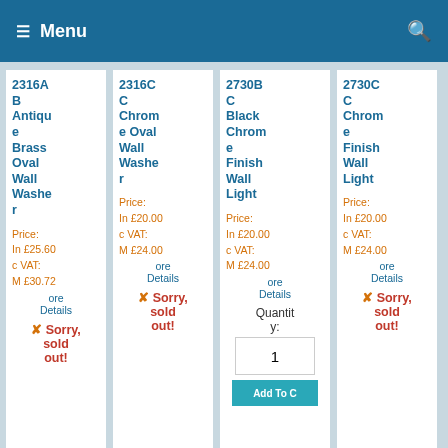Menu
2316AB Antique Brass Oval Wall Washer
Price: In £25.60c VAT: M £30.72
ore Details
Sorry, sold out!
2316CC Chrome Oval Wall Washer
Price: In £20.00c VAT: M £24.00
ore Details
Sorry, sold out!
2730BC Black Chrome Finish Wall Light
Price: In £20.00c VAT: M £24.00
ore Details
Quantity: 1
Add To C
2730CC Chrome Finish Wall Light
Price: In £20.00c VAT: M £24.00
ore Details
Sorry, sold out!